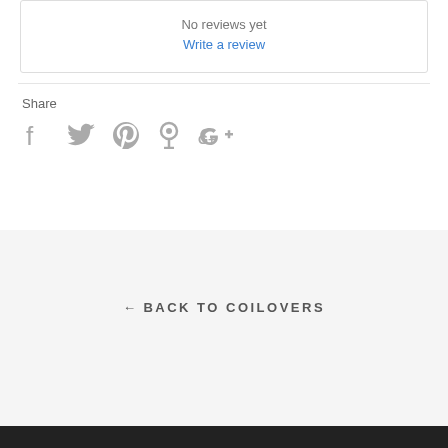No reviews yet
Write a review
Share
[Figure (infographic): Social share icons: Facebook, Twitter, Pinterest, Fancy, Google+]
← BACK TO COILOVERS